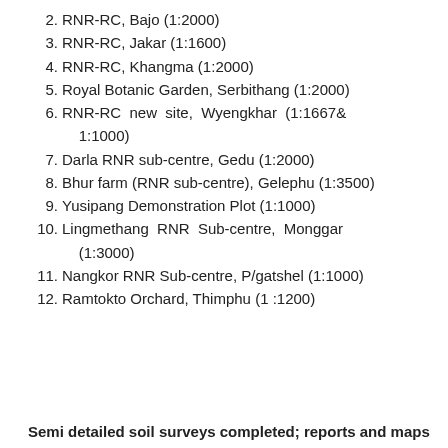2. RNR-RC, Bajo (1:2000)
3. RNR-RC, Jakar (1:1600)
4. RNR-RC, Khangma (1:2000)
5. Royal Botanic Garden, Serbithang (1:2000)
6. RNR-RC  new  site,  Wyengkhar  (1:1667& 1:1000)
7. Darla RNR sub-centre, Gedu (1:2000)
8. Bhur farm (RNR sub-centre), Gelephu (1:3500)
9. Yusipang Demonstration Plot (1:1000)
10. Lingmethang  RNR  Sub-centre,  Monggar (1:3000)
11. Nangkor RNR Sub-centre, P/gatshel (1:1000)
12. Ramtokto Orchard, Thimphu (1 :1200)
Semi detailed soil surveys completed; reports and maps